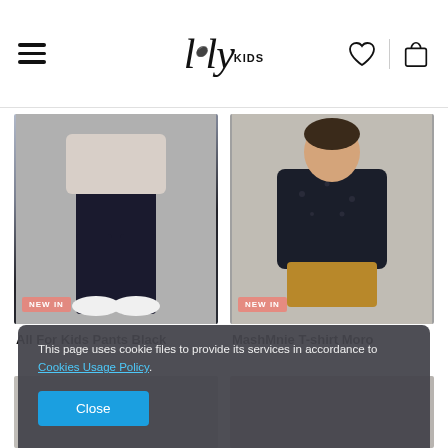lily KIDS — navigation header with hamburger menu, logo, heart icon, and bag icon
[Figure (photo): Boy wearing dark pants and a patterned t-shirt with white Nike sneakers, standing against a wall. Badge: NEW IN]
All For Kids Pants Black
[Figure (photo): Boy with short dark hair wearing a dark patterned t-shirt and mustard shorts, leaning against a concrete wall. Badge: NEW IN]
MashMnie T-shirt Moro
This page uses cookie files to provide its services in accordance to Cookies Usage Policy.
Close